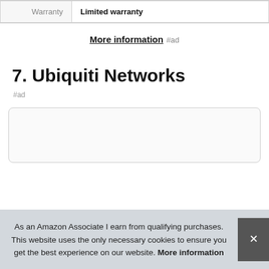| Warranty | Limited warranty |
More information #ad
7. Ubiquiti Networks
#ad
As an Amazon Associate I earn from qualifying purchases. This website uses the only necessary cookies to ensure you get the best experience on our website. More information